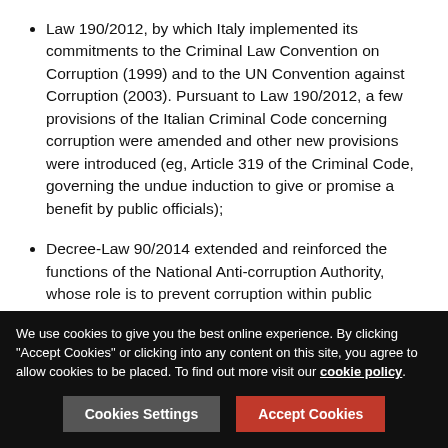Law 190/2012, by which Italy implemented its commitments to the Criminal Law Convention on Corruption (1999) and to the UN Convention against Corruption (2003). Pursuant to Law 190/2012, a few provisions of the Italian Criminal Code concerning corruption were amended and other new provisions were introduced (eg, Article 319 of the Criminal Code, governing the undue induction to give or promise a benefit by public officials);
Decree-Law 90/2014 extended and reinforced the functions of the National Anti-corruption Authority, whose role is to prevent corruption within public administration – for this purpose, the authority may perform inspections and audits, as well as impose sanctions;
We use cookies to give you the best online experience. By clicking "Accept Cookies" or clicking into any content on this site, you agree to allow cookies to be placed. To find out more visit our cookie policy.